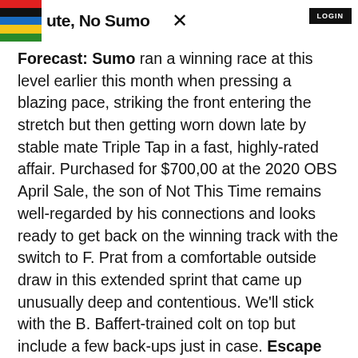Route, No Sumo
Forecast: Sumo ran a winning race at this level earlier this month when pressing a blazing pace, striking the front entering the stretch but then getting worn down late by stable mate Triple Tap in a fast, highly-rated affair. Purchased for $700,00 at the 2020 OBS April Sale, the son of Not This Time remains well-regarded by his connections and looks ready to get back on the winning track with the switch to F. Prat from a comfortable outside draw in this extended sprint that came up unusually deep and contentious. We'll stick with the B. Baffert-trained colt on top but include a few back-ups just in case. Escape Route is extremely fast on numbers and missed in a photo at this condition last month at Santa Anita in a career top effort. He's trained well since and very likely has another forward move or two in him. Teton Valley